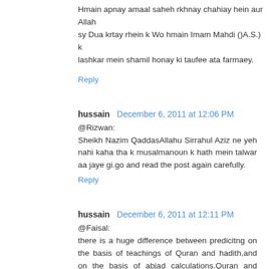Hmain apnay amaal saheh rkhnay chahiay hein aur Allah sy Dua krtay rhein k Wo hmain Imam Mahdi ()A.S.) k lashkar mein shamil honay ki taufee ata farmaey.
Reply
hussain  December 6, 2011 at 12:06 PM
@Rizwan:
Sheikh Nazim QaddasAllahu Sirrahul Aziz ne yeh nahi kaha tha k musalmanoun k hath mein talwar aa jaye gi.go and read the post again carefully.
Reply
hussain  December 6, 2011 at 12:11 PM
@Faisal:
there is a huge difference between predicitng on the basis of teachings of Quran and hadith,and on the basis of abjad calculations.Quran and hadith are authentic while abjad calculations are mere guess of a person.